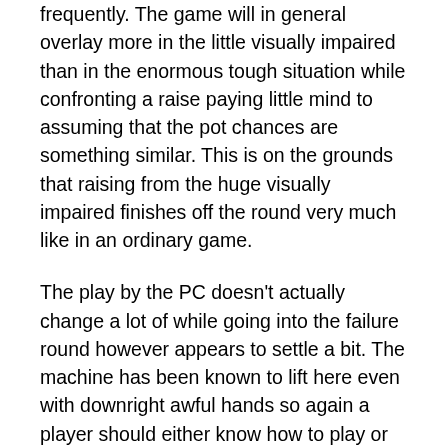frequently. The game will in general overlay more in the little visually impaired than in the enormous tough situation while confronting a raise paying little mind to assuming that the pot chances are something similar. This is on the grounds that raising from the huge visually impaired finishes off the round very much like in an ordinary game.
The play by the PC doesn't actually change a lot of while going into the failure round however appears to settle a bit. The machine has been known to lift here even with downright awful hands so again a player should either know how to play or be extremely sure about the hand they're holding to not allow the PC to outsmart them. Despite the fact that the PC is bound to overlap here than in the preflop stage with any strong...